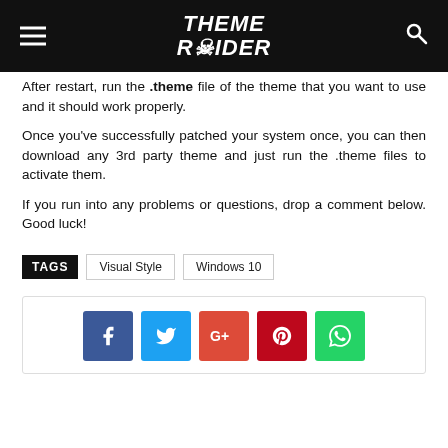Theme Raider
After restart, run the .theme file of the theme that you want to use and it should work properly.
Once you've successfully patched your system once, you can then download any 3rd party theme and just run the .theme files to activate them.
If you run into any problems or questions, drop a comment below. Good luck!
TAGS   Visual Style   Windows 10
[Figure (infographic): Social sharing buttons: Facebook (blue), Twitter (cyan), Google+ (orange-red), Pinterest (dark red), WhatsApp (green)]